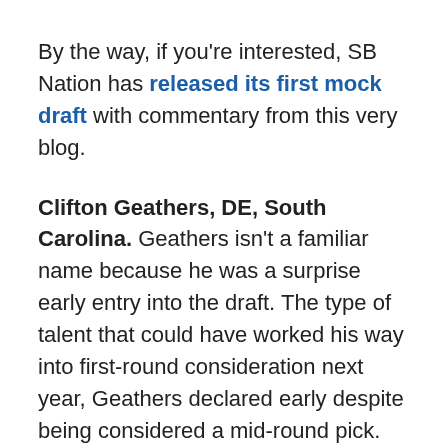By the way, if you're interested, SB Nation has released its first mock draft with commentary from this very blog.
Clifton Geathers, DE, South Carolina. Geathers isn't a familiar name because he was a surprise early entry into the draft. The type of talent that could have worked his way into first-round consideration next year, Geathers declared early despite being considered a mid-round pick. Geathers needs to be on the draft radar of Bills fans because he's a perfect fit in the 3-4; he stands 6'7" with absurd 37.75-inch arms and huge hands. To put that in perspective, only four other defensive lineman had arms that measured in over 35